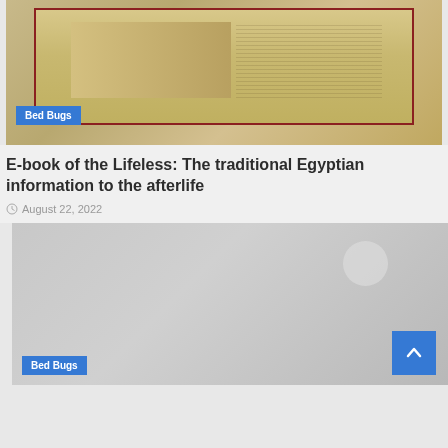[Figure (photo): Egyptian papyrus scroll showing figures and hieroglyphic text with a red border frame, with a 'Bed Bugs' blue badge overlay at bottom left]
E-book of the Lifeless: The traditional Egyptian information to the afterlife
August 22, 2022
[Figure (photo): A gray/light colored image, mostly blank or faded, with a light circle shape in upper right, and a 'Bed Bugs' blue badge overlay at bottom left]